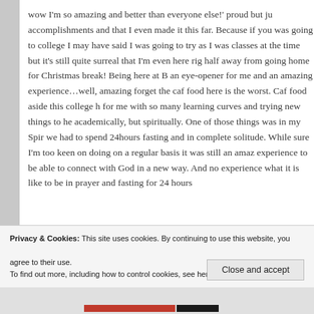wow I'm so amazing and better than everyone else!' proud but ju accomplishments and that I even made it this far. Because if you was going to college I may have said I was going to try as I was classes at the time but it's still quite surreal that I'm even here rig half away from going home for Christmas break! Being here at B an eye-opener for me and an amazing experience…well, amazing forget the caf food here is the worst. Caf food aside this college h for me with so many learning curves and trying new things to he academically, but spiritually. One of those things was in my Spir we had to spend 24hours fasting and in complete solitude. While sure I'm too keen on doing on a regular basis it was still an amaz experience to be able to connect with God in a new way. And no experience what it is like to be in prayer and fasting for 24 hours
Privacy & Cookies: This site uses cookies. By continuing to use this website, you agree to their use.
To find out more, including how to control cookies, see here: Cookie Policy
Close and accept